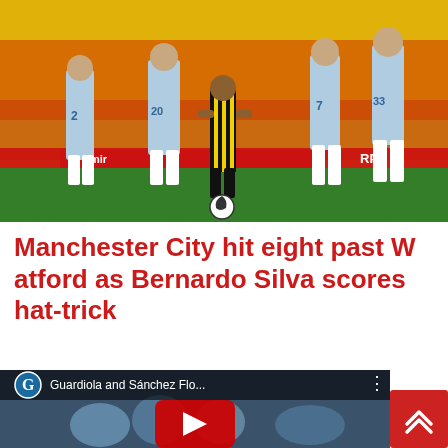[Figure (photo): Football match photo showing Manchester City players in light blue jerseys (numbers 2, 20, 7, 33) with backs turned and a Watford player in yellow/black stripes standing with a ball, stadium crowd in background with red and yellow colors]
Manchester City hit eight past Watford as Bernardo Silva scores hat-trick
[Figure (screenshot): YouTube video embed thumbnail showing Manchester City players celebrating, with Guardian G logo, title 'Guardiola and Sánchez Flo...' and YouTube play button overlay]